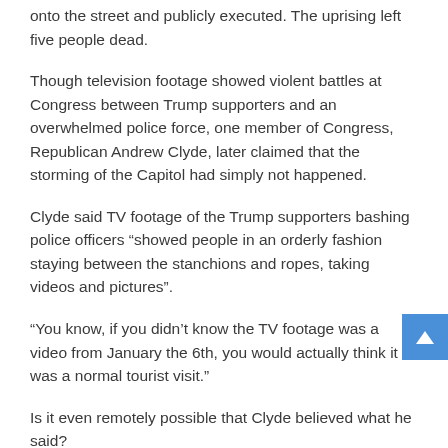onto the street and publicly executed. The uprising left five people dead.
Though television footage showed violent battles at Congress between Trump supporters and an overwhelmed police force, one member of Congress, Republican Andrew Clyde, later claimed that the storming of the Capitol had simply not happened.
Clyde said TV footage of the Trump supporters bashing police officers “showed people in an orderly fashion staying between the stanchions and ropes, taking videos and pictures”.
“You know, if you didn’t know the TV footage was a video from January the 6th, you would actually think it was a normal tourist visit.”
Is it even remotely possible that Clyde believed what he said?